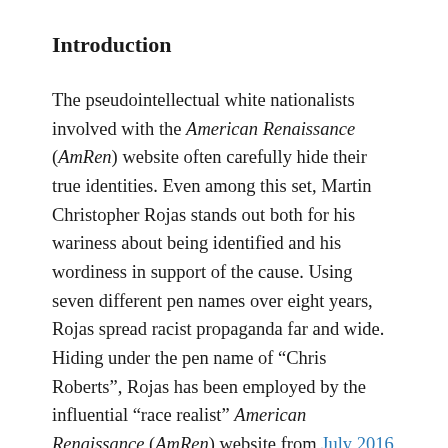Introduction
The pseudointellectual white nationalists involved with the American Renaissance (AmRen) website often carefully hide their true identities. Even among this set, Martin Christopher Rojas stands out both for his wariness about being identified and his wordiness in support of the cause. Using seven different pen names over eight years, Rojas spread racist propaganda far and wide. Hiding under the pen name of “Chris Roberts”, Rojas has been employed by the influential “race realist” American Renaissance (AmRen) website from July 2016 to October 2017, and again from November 2019 to present. Of the four